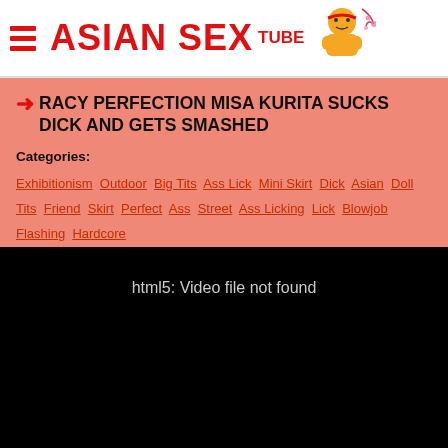ASIAN SEX TUBE
RACY PERFECTION MISA KURITA SUCKS DICK AND GETS SMASHED
Categories:
Exhibitionism Outdoor Big Tits Ass Lick Mini Skirt Dick Asian Doll Tits Friend Skirt Perfect Ass Street Ass Licking Lick Blowjob Flashing Hardcore
[Figure (other): Black video player area showing error message: html5: Video file not found]